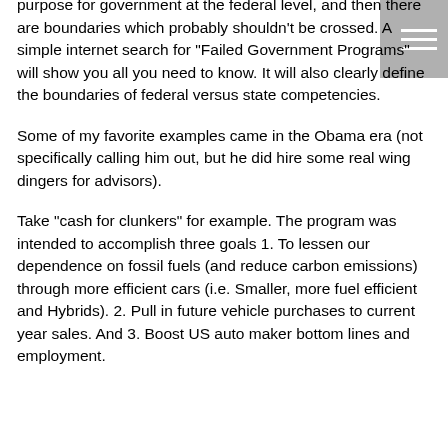our government by any stretch. I am simply citing there is a purpose for government at the federal level, and then there are boundaries which probably shouldn't be crossed.  A simple internet search for “Failed Government Programs” will show you all you need to know.  It will also clearly define the boundaries of federal versus state competencies.
Some of my favorite examples came in the Obama era (not specifically calling him out, but he did hire some real wing dingers for advisors).
Take “cash for clunkers” for example.  The program was intended to accomplish three goals  1. To lessen our dependence on fossil fuels  (and reduce carbon emissions) through more efficient cars (i.e. Smaller, more fuel efficient and Hybrids).  2. Pull in future vehicle purchases to current year sales.  And 3. Boost US auto maker bottom lines and employment.